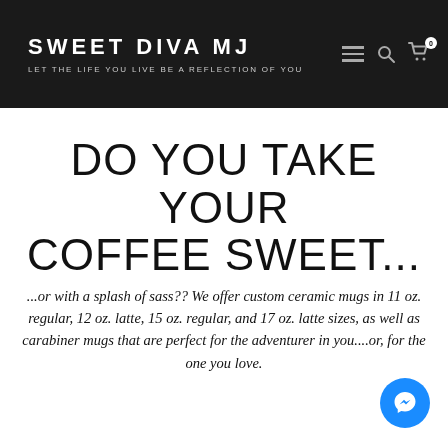SWEET DIVA MJ — LET THE LIFE YOU LIVE BE A REFLECTION OF YOU
DO YOU TAKE YOUR COFFEE SWEET...
...or with a splash of sass?? We offer custom ceramic mugs in 11 oz. regular, 12 oz. latte, 15 oz. regular, and 17 oz. latte sizes, as well as carabiner mugs that are perfect for the adventurer in you....or, for the one you love.
[Figure (illustration): Blue circular Messenger chat button in bottom-right corner]